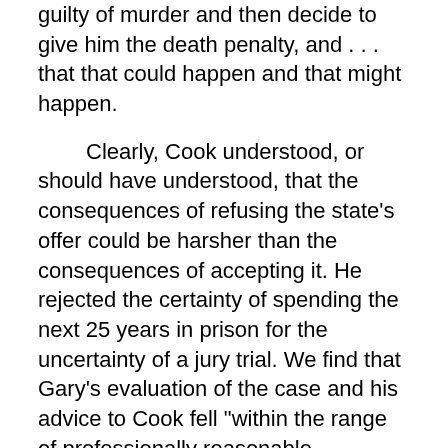guilty of murder and then decide to give him the death penalty, and . . . that that could happen and that might happen.
Clearly, Cook understood, or should have understood, that the consequences of refusing the state's offer could be harsher than the consequences of accepting it. He rejected the certainty of spending the next 25 years in prison for the uncertainty of a jury trial. We find that Gary's evaluation of the case and his advice to Cook fell "within the range of professionally reasonable judgments." Strickland v. Washington, supra, 104 SC at 2071.
Moreover, it is clear from the record that Gary